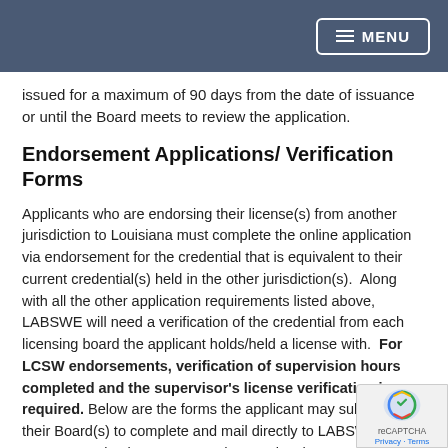MENU
issued for a maximum of 90 days from the date of issuance or until the Board meets to review the application.
Endorsement Applications/ Verification Forms
Applicants who are endorsing their license(s) from another jurisdiction to Louisiana must complete the online application via endorsement for the credential that is equivalent to their current credential(s) held in the other jurisdiction(s).  Along with all the other application requirements listed above, LABSWE will need a verification of the credential from each licensing board the applicant holds/held a license with.  For LCSW endorsements, verification of supervision hours completed and the supervisor's license verification is required. Below are the forms the applicant may submit to their Board(s) to complete and mail directly to LABSWE.  If an ASWB examination was passed to receive the current credential, applicants must contact ASWB to send LABSWE an official score transfer report verifying the passing score. It is also required that the applicant submit the licensing law for